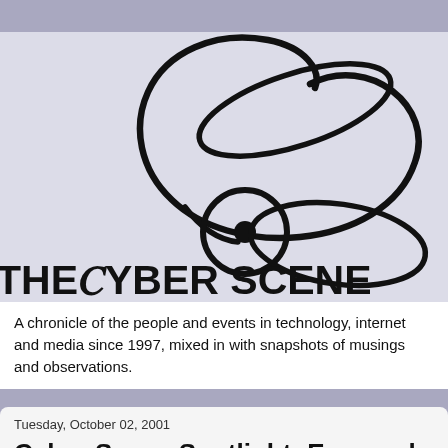[Figure (logo): The Cyber Scene logo — a decorative cursive 'C' with loop shapes above and below, with the text 'THE CYBER SCENE' in bold stylized font beneath it, on a light lavender background.]
A chronicle of the people and events in technology, internet and media since 1997, mixed in with snapshots of musings and observations.
Tuesday, October 02, 2001
Cyber Scene Spotlight: Emanuel and